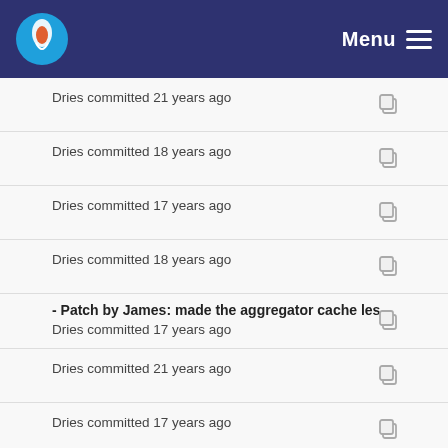Menu
Dries committed 21 years ago
Dries committed 18 years ago
Dries committed 17 years ago
Dries committed 18 years ago
- Patch by James: made the aggregator cache les...
Dries committed 17 years ago
Dries committed 21 years ago
Dries committed 17 years ago